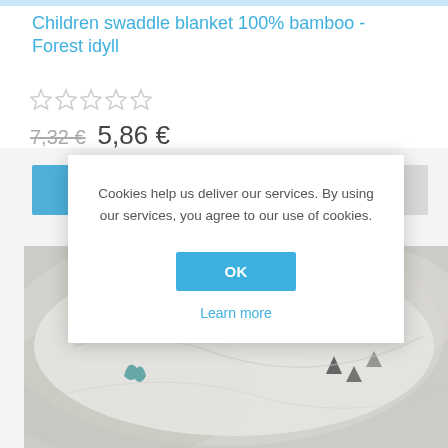Children swaddle blanket 100% bamboo - Forest idyll
★☆☆☆☆ (star rating, 0 stars)
7,32 €  5,86 €
[Figure (screenshot): Cookie consent modal dialog overlaying a product page. Modal text: 'Cookies help us deliver our services. By using our services, you agree to our use of cookies.' with OK button and Learn more link.]
[Figure (photo): Close-up photo of a white bamboo swaddle blanket with forest-themed print including green trees, animals, and black triangle/arrow shapes.]